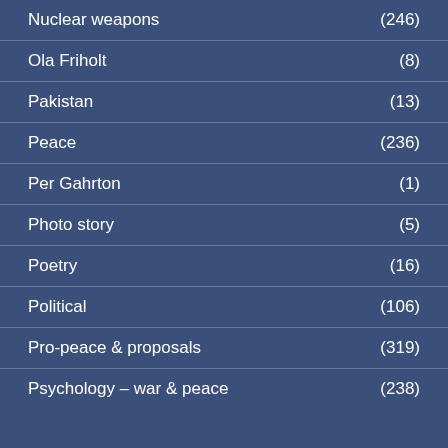Nuclear weapons (246)
Ola Friholt (8)
Pakistan (13)
Peace (236)
Per Gahrton (1)
Photo story (5)
Poetry (16)
Political (106)
Pro-peace & proposals (319)
Psychology – war & peace (238)